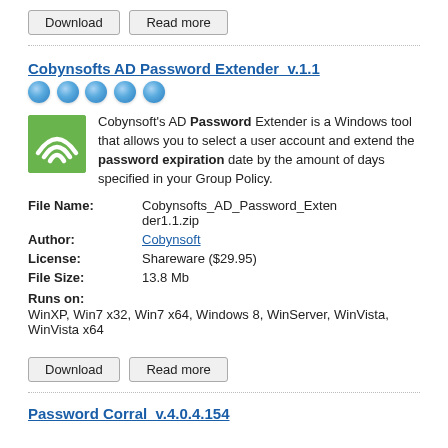Download   Read more
Cobynsofts AD Password Extender  v.1.1
[Figure (illustration): Five blue sphere/dot rating icons in a row]
[Figure (illustration): Green square app icon with wifi-like arc symbol]
Cobynsoft's AD Password Extender is a Windows tool that allows you to select a user account and extend the password expiration date by the amount of days specified in your Group Policy.
| File Name: | Cobynsofts_AD_Password_Extender1.1.zip |
| Author: | Cobynsoft |
| License: | Shareware ($29.95) |
| File Size: | 13.8 Mb |
Runs on:
WinXP, Win7 x32, Win7 x64, Windows 8, WinServer, WinVista, WinVista x64
Download   Read more
Password Corral  v.4.0.4.154